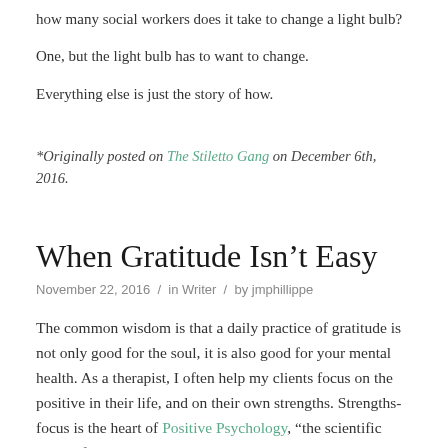how many social workers does it take to change a light bulb?
One, but the light bulb has to want to change.
Everything else is just the story of how.
*Originally posted on The Stiletto Gang on December 6th, 2016.
When Gratitude Isn’t Easy
November 22, 2016 / in Writer / by jmphillippe
The common wisdom is that a daily practice of gratitude is not only good for the soul, it is also good for your mental health. As a therapist, I often help my clients focus on the positive in their life, and on their own strengths. Strengths-focus is the heart of Positive Psychology, “the scientific study of the strengths that enable individuals and communities to thrive.” Martin Seligman, the founder of Positive psychology wanted to find a way to help